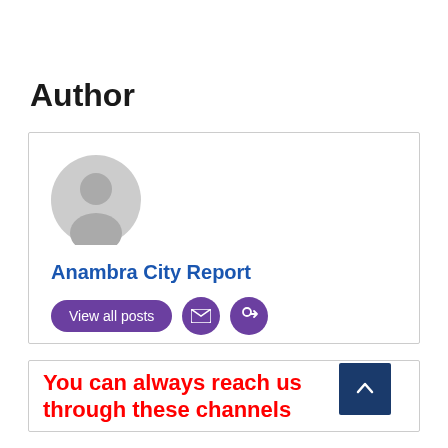Author
[Figure (illustration): Author card with a gray default user avatar icon (circle with person silhouette), the name 'Anambra City Report' in blue, and three purple buttons: 'View all posts', an email icon button, and a link icon button.]
You can always reach us through these channels